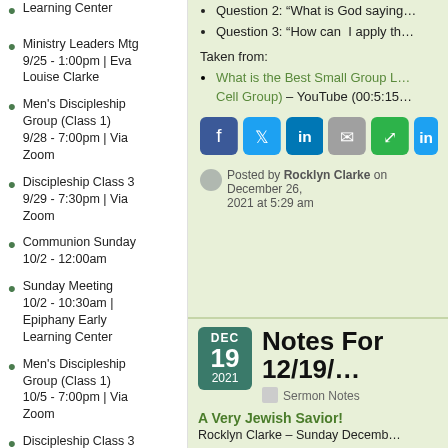Learning Center
Ministry Leaders Mtg 9/25 - 1:00pm | Eva Louise Clarke
Men's Discipleship Group (Class 1) 9/28 - 7:00pm | Via Zoom
Discipleship Class 3 9/29 - 7:30pm | Via Zoom
Communion Sunday 10/2 - 12:00am
Sunday Meeting 10/2 - 10:30am | Epiphany Early Learning Center
Men's Discipleship Group (Class 1) 10/5 - 7:00pm | Via Zoom
Discipleship Class 3 10/6 - 7:30pm | Via
Question 2: “What is God saying…”
Question 3: “How can I apply th…”
Taken from:
What is the Best Small Group L…(Cell Group) – YouTube (00:5:15…)
Posted by Rocklyn Clarke on December 26, 2021 at 5:29 am
Notes For 12/19/…
Sermon Notes
A Very Jewish Savior!
Rocklyn Clarke – Sunday Decemb…